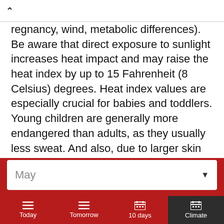regnancy, wind, metabolic differences). Be aware that direct exposure to sunlight increases heat impact and may raise the heat index by up to 15 Fahrenheit (8 Celsius) degrees. Heat index values are especially crucial for babies and toddlers. Young children are generally more endangered than adults, as they usually less sweat. And also, due to larger skin surface relative to their small bodies and higher
May
Today | Tomorrow | 10 days | Climate